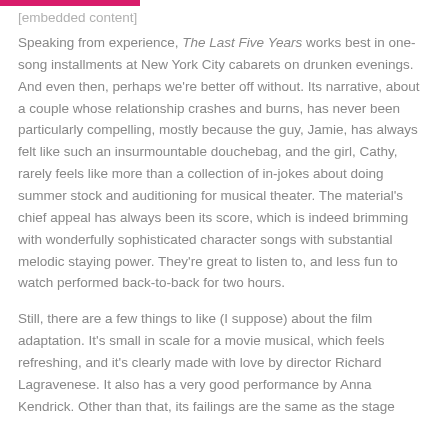[embedded content]
Speaking from experience, The Last Five Years works best in one-song installments at New York City cabarets on drunken evenings. And even then, perhaps we're better off without. Its narrative, about a couple whose relationship crashes and burns, has never been particularly compelling, mostly because the guy, Jamie, has always felt like such an insurmountable douchebag, and the girl, Cathy, rarely feels like more than a collection of in-jokes about doing summer stock and auditioning for musical theater. The material's chief appeal has always been its score, which is indeed brimming with wonderfully sophisticated character songs with substantial melodic staying power. They're great to listen to, and less fun to watch performed back-to-back for two hours.
Still, there are a few things to like (I suppose) about the film adaptation. It's small in scale for a movie musical, which feels refreshing, and it's clearly made with love by director Richard Lagravenese. It also has a very good performance by Anna Kendrick. Other than that, its failings are the same as the stage